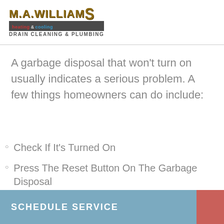[Figure (logo): M.A. Williams Heating & Cooling, Drain Cleaning & Plumbing company logo]
A garbage disposal that won't turn on usually indicates a serious problem. A few things homeowners can do include:
Check If It's Turned On
Press The Reset Button On The Garbage Disposal
Check The Circuit Breaker
SCHEDULE SERVICE